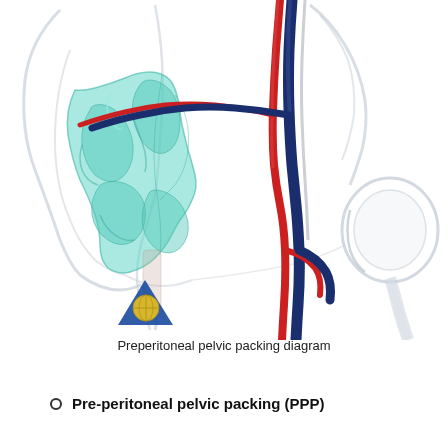[Figure (illustration): Medical illustration of preperitoneal pelvic packing (PPP) procedure showing a frontal view of the pelvic anatomy with iliac bones, femoral head, and hip joint on the right. The aorta/iliac artery (red) and inferior vena cava/iliac vein (dark blue) run vertically on the right side. Teal/turquoise gauze packing material is shown filling the preperitoneal space within the pelvic cavity. A publisher logo (blue triangle with yellow globe) appears in the lower left of the diagram area.]
Preperitoneal pelvic packing diagram
Pre-peritoneal pelvic packing (PPP)